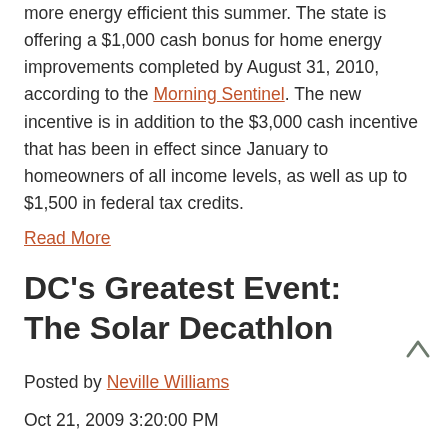more energy efficient this summer. The state is offering a $1,000 cash bonus for home energy improvements completed by August 31, 2010, according to the Morning Sentinel. The new incentive is in addition to the $3,000 cash incentive that has been in effect since January to homeowners of all income levels, as well as up to $1,500 in federal tax credits.
Read More
DC's Greatest Event: The Solar Decathlon
Posted by Neville Williams
Oct 21, 2009 3:20:00 PM